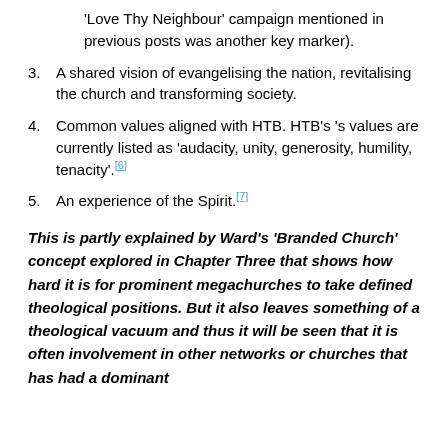'Love Thy Neighbour' campaign mentioned in previous posts was another key marker).
3. A shared vision of evangelising the nation, revitalising the church and transforming society.
4. Common values aligned with HTB. HTB's 's values are currently listed as 'audacity, unity, generosity, humility, tenacity'.[6]
5. An experience of the Spirit.[7]
This is partly explained by Ward's 'Branded Church' concept explored in Chapter Three that shows how hard it is for prominent megachurches to take defined theological positions. But it also leaves something of a theological vacuum and thus it will be seen that it is often involvement in other networks or churches that has had a dominant